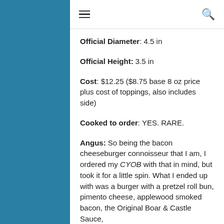≡  🔍
Official Diameter: 4.5 in
Official Height: 3.5 in
Cost: $12.25 ($8.75 base 8 oz price plus cost of toppings, also includes side)
Cooked to order: YES. RARE.
Angus: So being the bacon cheeseburger connoisseur that I am, I ordered my CYOB with that in mind, but took it for a little spin. What I ended up with was a burger with a pretzel roll bun, pimento cheese, applewood smoked bacon, the Original Boar & Castle Sauce,